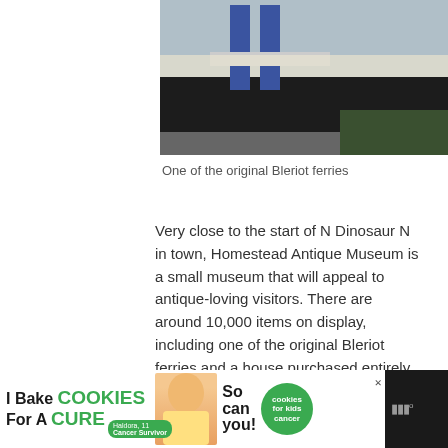[Figure (photo): Partial view of one of the original Bleriot ferries, showing blue structural elements and a white wooden plank, with a dark hull and green grass in the background.]
One of the original Bleriot ferries
Very close to the start of N Dinosaur N in town, Homestead Antique Museum is a small museum that will appeal to antique-loving visitors. There are around 10,000 items on display, including one of the original Bleriot ferries and a house purchased entirely from a 1919 Eaton's catalogue.
[Figure (infographic): Advertisement banner at bottom of page: 'I Bake COOKIES For A CURE' with photo of child named Haldora (age 11, Cancer Survivor) and text 'So can you!' with a green cookies for kids cancer badge. Dark background with Millennial logo.]